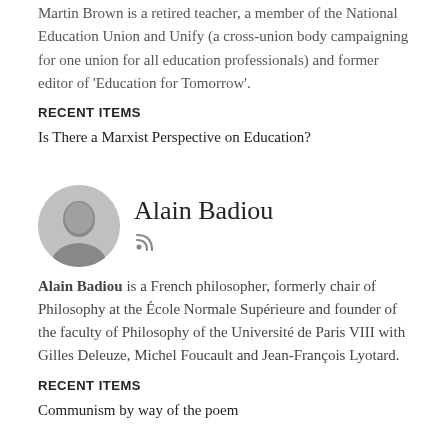Martin Brown is a retired teacher, a member of the National Education Union and Unify (a cross-union body campaigning for one union for all education professionals) and former editor of 'Education for Tomorrow'.
RECENT ITEMS
Is There a Marxist Perspective on Education?
[Figure (photo): Circular portrait photo of Alain Badiou with RSS feed icon below]
Alain Badiou
Alain Badiou is a French philosopher, formerly chair of Philosophy at the École Normale Supérieure and founder of the faculty of Philosophy of the Université de Paris VIII with Gilles Deleuze, Michel Foucault and Jean-François Lyotard.
RECENT ITEMS
Communism by way of the poem
[Figure (photo): Circular portrait photo of Nick Grant]
Nick Grant